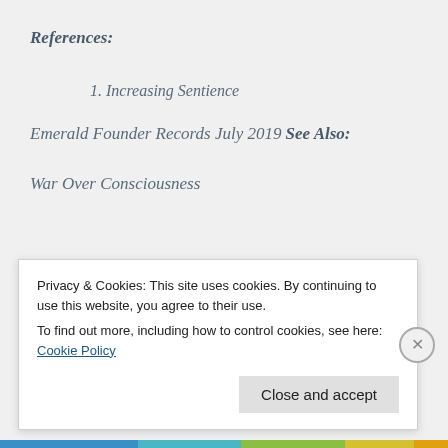References:
1. Increasing Sentience
Emerald Founder Records July 2019
See Also:
War Over Consciousness
Privacy & Cookies: This site uses cookies. By continuing to use this website, you agree to their use.
To find out more, including how to control cookies, see here: Cookie Policy
Close and accept